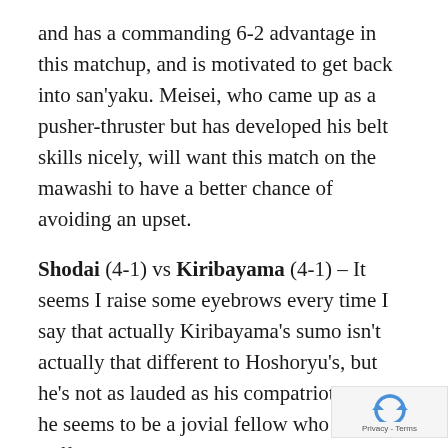and has a commanding 6-2 advantage in this matchup, and is motivated to get back into san'yaku. Meisei, who came up as a pusher-thruster but has developed his belt skills nicely, will want this match on the mawashi to have a better chance of avoiding an upset.
Shodai (4-1) vs Kiribayama (4-1) – It seems I raise some eyebrows every time I say that actually Kiribayama's sumo isn't actually that different to Hoshoryu's, but he's not as lauded as his compatriot because he seems to be a jovial fellow who likes coffee and doesn't go around scowling at shimpan and refusing to bow when he loses to higher ranked oppon... But anyway, he's extremely good value for 4-1...
[Figure (logo): reCAPTCHA privacy badge with circular arrow icon and 'Privacy - Terms' text]